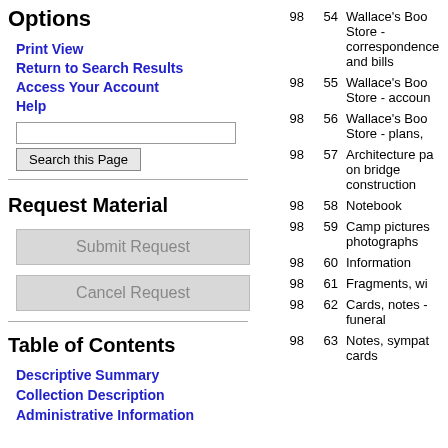Options
Print View
Return to Search Results
Access Your Account
Help
Request Material
Table of Contents
Descriptive Summary
Collection Description
Administrative Information
| Box | Folder | Description |
| --- | --- | --- |
| 98 | 54 | Wallace's Book Store - correspondence and bills |
| 98 | 55 | Wallace's Book Store - accoun |
| 98 | 56 | Wallace's Book Store - plans, |
| 98 | 57 | Architecture pa on bridge construction |
| 98 | 58 | Notebook |
| 98 | 59 | Camp pictures photographs |
| 98 | 60 | Information |
| 98 | 61 | Fragments, wi |
| 98 | 62 | Cards, notes - funeral |
| 98 | 63 | Notes, sympat cards |